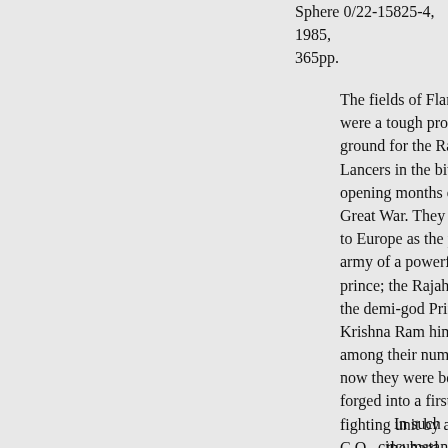Sphere 0/22-15825-4, 1985, 365pp.
The fields of Flanders were a tough proving ground for the Ravi Lancers in the bitter opening months of the Great War. They had come to Europe as the private army of a powerful Indian prince; the Rajah's heir, the demi-god Prince Krishna Ram himself, was among their number. But now they were being forged into a first-class fighting unit by a new C.O. – the hard, uncompromising Warren Bateman, a professional soldier who cared little for the Lancers' customs and traditions.
In such circumstances,